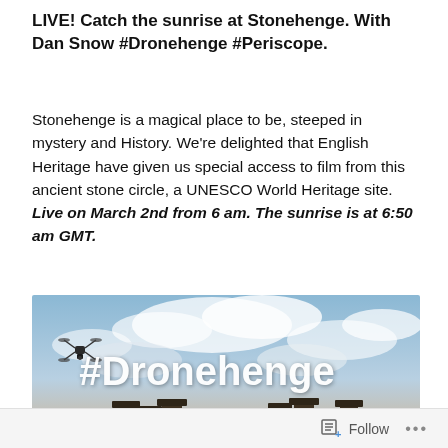LIVE! Catch the sunrise at Stonehenge. With Dan Snow #Dronehenge #Periscope.
Stonehenge is a magical place to be, steeped in mystery and History. We're delighted that English Heritage have given us special access to film from this ancient stone circle, a UNESCO World Heritage site. Live on March 2nd from 6 am. The sunrise is at 6:50 am GMT.
[Figure (photo): Photo of Stonehenge with a drone visible in the sky and large white #Dronehenge text overlaid. Cloudy sky background with Stonehenge stones visible at the bottom.]
Follow ...